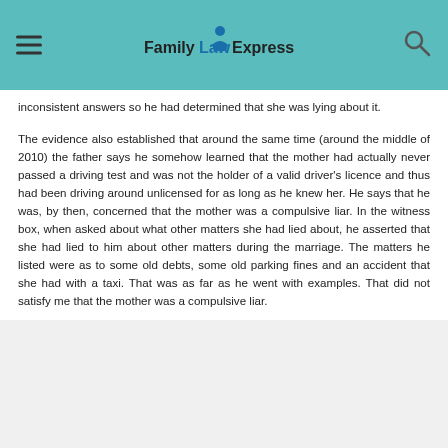FamilyLawExpress
inconsistent answers so he had determined that she was lying about it.
The evidence also established that around the same time (around the middle of 2010) the father says he somehow learned that the mother had actually never passed a driving test and was not the holder of a valid driver's licence and thus had been driving around unlicensed for as long as he knew her. He says that he was, by then, concerned that the mother was a compulsive liar. In the witness box, when asked about what other matters she had lied about, he asserted that she had lied to him about other matters during the marriage. The matters he listed were as to some old debts, some old parking fines and an accident that she had with a taxi. That was as far as he went with examples. That did not satisfy me that the mother was a compulsive liar.